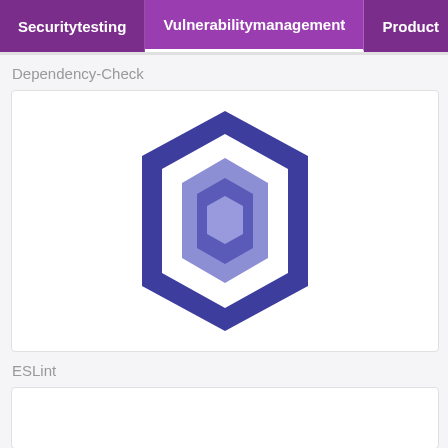Securitytesting | Vulnerabilitymanagement | Product
Dependency-Check
[Figure (logo): Webpack hexagonal logo: a dark purple/indigo outer hexagon, a white/light inner hexagonal ring, and a light blue/violet innermost hexagon, arranged concentrically.]
ESLint